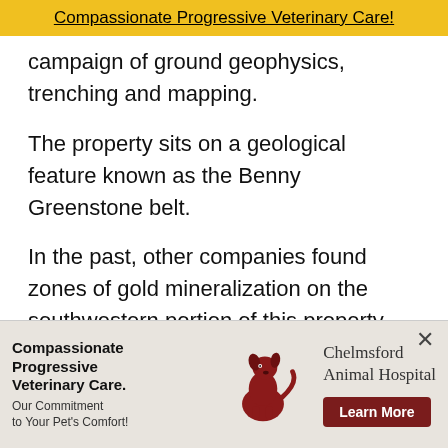Compassionate Progressive Veterinary Care!
campaign of ground geophysics, trenching and mapping.
The property sits on a geological feature known as the Benny Greenstone belt.
In the past, other companies found zones of gold mineralization on the southwestern portion of this property. On the northeastern side, there's a marble formation that was deemed suitable for building construction purposes, but there were also base and precious metals identified.
[Figure (illustration): Advertisement banner for Chelmsford Animal Hospital featuring bold text 'Compassionate Progressive Veterinary Care. Our Commitment to Your Pet's Comfort!' alongside an illustration of a sitting dog and a Learn More button.]